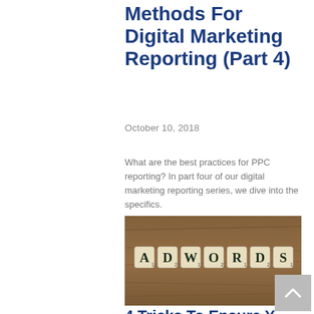Methods For Digital Marketing Reporting (Part 4)
October 10, 2018
What are the best practices for PPC reporting? In part four of our digital marketing reporting series, we dive into the specifics.
Read More
[Figure (photo): Scrabble tiles spelling out ADWORDS on a wooden surface background]
4 Tricks To Ensure Y...